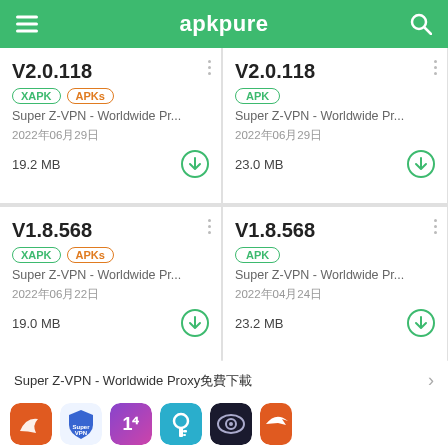apkpure
V2.0.118 | XAPK APKs | Super Z-VPN - Worldwide Pr... | 2022年06月29日 | 19.2 MB
V2.0.118 | APK | Super Z-VPN - Worldwide Pr... | 2022年06月29日 | 23.0 MB
V1.8.568 | XAPK APKs | Super Z-VPN - Worldwide Pr... | 2022年06月22日 | 19.0 MB
V1.8.568 | APK | Super Z-VPN - Worldwide Pr... | 2022年04月24日 | 23.2 MB
Super Z-VPN - Worldwide Proxy免費下載
[Figure (screenshot): App icons row at bottom of apkpure listing page]